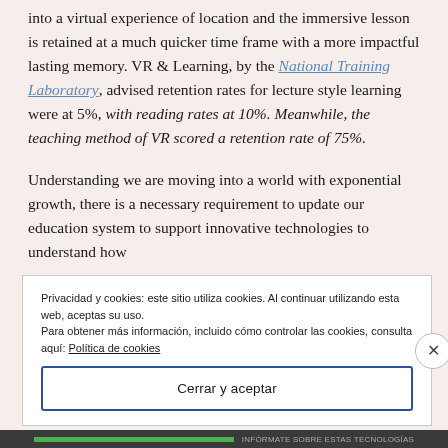into a virtual experience of location and the immersive lesson is retained at a much quicker time frame with a more impactful lasting memory. VR & Learning, by the National Training Laboratory, advised retention rates for lecture style learning were at 5%, with reading rates at 10%. Meanwhile, the teaching method of VR scored a retention rate of 75%.
Understanding we are moving into a world with exponential growth, there is a necessary requirement to update our education system to support innovative technologies to understand how
Privacidad y cookies: este sitio utiliza cookies. Al continuar utilizando esta web, aceptas su uso.
Para obtener más información, incluido cómo controlar las cookies, consulta aquí: Política de cookies
Cerrar y aceptar